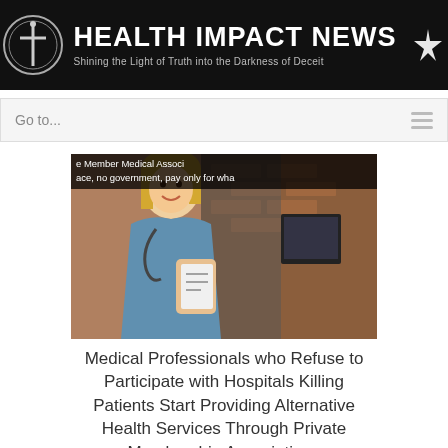HEALTH IMPACT NEWS — Shining the Light of Truth into the Darkness of Deceit
Go to...
[Figure (photo): A smiling female medical professional in blue scrubs with a stethoscope, seated at a desk with medical equipment and brick wall in background. Overlay text: 'e Member Medical Associ... ace, no government, pay only for wha...']
Medical Professionals who Refuse to Participate with Hospitals Killing Patients Start Providing Alternative Health Services Through Private Membership Associations